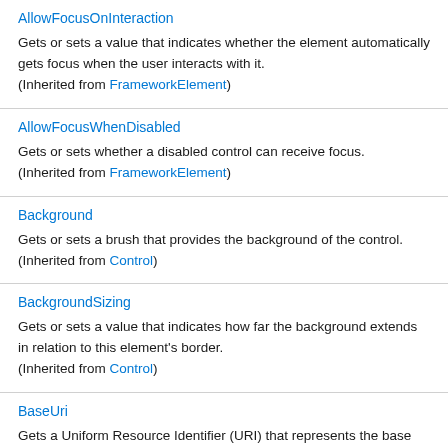AllowFocusOnInteraction
Gets or sets a value that indicates whether the element automatically gets focus when the user interacts with it. (Inherited from FrameworkElement)
AllowFocusWhenDisabled
Gets or sets whether a disabled control can receive focus. (Inherited from FrameworkElement)
Background
Gets or sets a brush that provides the background of the control. (Inherited from Control)
BackgroundSizing
Gets or sets a value that indicates how far the background extends in relation to this element's border. (Inherited from Control)
BaseUri
Gets a Uniform Resource Identifier (URI) that represents the base...